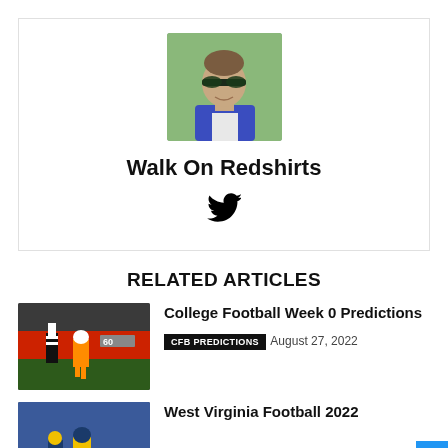[Figure (photo): Headshot of a man wearing sunglasses and a blue shirt outdoors, green background]
Walk On Redshirts
[Figure (other): Twitter bird icon]
RELATED ARTICLES
[Figure (photo): College football player running on field with referee in background]
College Football Week 0 Predictions
CFB PREDICTIONS   August 27, 2022
[Figure (photo): West Virginia football game photo]
West Virginia Football 2022